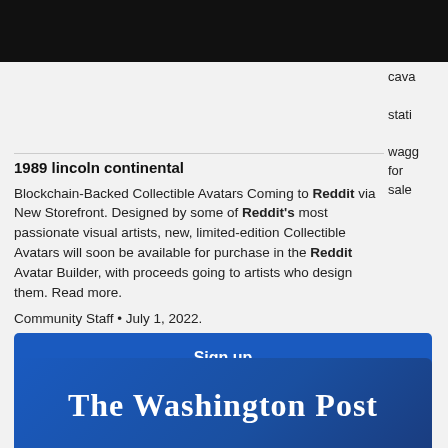cava stati wagg for sale
1989 lincoln continental
Blockchain-Backed Collectible Avatars Coming to Reddit via New Storefront. Designed by some of Reddit's most passionate visual artists, new, limited-edition Collectible Avatars will soon be available for purchase in the Reddit Avatar Builder, with proceeds going to artists who design them. Read more. Community Staff • July 1, 2022.
Sign up
[Figure (logo): The Washington Post logo in white text on blue gradient background]